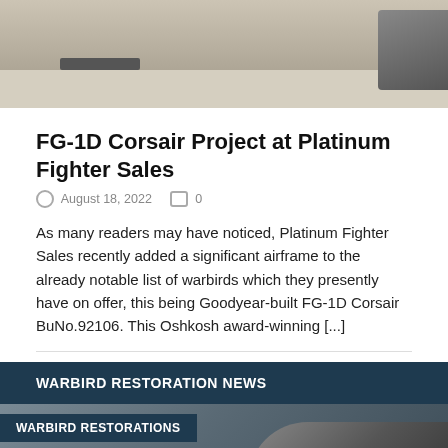[Figure (photo): Top portion of an aircraft restoration photo showing a warbird on a hangar floor]
FG-1D Corsair Project at Platinum Fighter Sales
August 18, 2022   0
As many readers may have noticed, Platinum Fighter Sales recently added a significant airframe to the already notable list of warbirds which they presently have on offer, this being Goodyear-built FG-1D Corsair BuNo.92106. This Oshkosh award-winning [...]
WARBIRD RESTORATION NEWS
[Figure (photo): Bottom portion showing warbird aircraft restoration with engine detail visible, tagged WARBIRD RESTORATIONS]